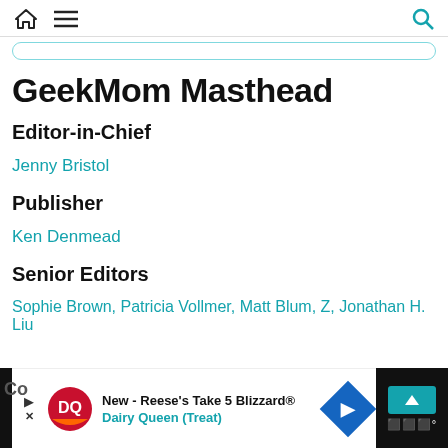GeekMom navigation header with home, menu, and search icons
GeekMom Masthead
Editor-in-Chief
Jenny Bristol
Publisher
Ken Denmead
Senior Editors
Sophie Brown, Patricia Vollmer, Matt Blum, Z, Jonathan H. Liu
[Figure (screenshot): Advertisement banner for Dairy Queen - New Reese's Take 5 Blizzard with DQ logo and navigation arrow icon]